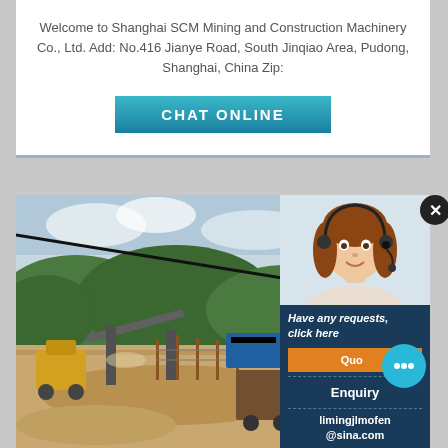Welcome to Shanghai SCM Mining and Construction Machinery Co., Ltd. Add: No.416 Jianye Road, South Jinqiao Area, Pudong, Shanghai, China Zip:
[Figure (other): CHAT ONLINE button with teal/blue gradient background]
[Figure (photo): Mining/construction site with machinery, sandy ground, vegetation on hills in background, cable overhead]
[Figure (photo): Customer service representative, woman wearing headset, smiling, overlaid on dark navy panel with Have any requests click here text, Quote button, Enquiry label, and email limingjlmofen@sina.com]